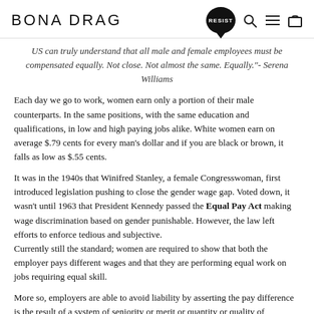BONA DRAG
US can truly understand that all male and female employees must be compensated equally. Not close. Not almost the same. Equally." - Serena Williams
Each day we go to work, women earn only a portion of their male counterparts. In the same positions, with the same education and qualifications, in low and high paying jobs alike. White women earn on average $.79 cents for every man's dollar and if you are black or brown, it falls as low as $.55 cents.
It was in the 1940s that Winifred Stanley, a female Congresswoman, first introduced legislation pushing to close the gender wage gap. Voted down, it wasn't until 1963 that President Kennedy passed the Equal Pay Act making wage discrimination based on gender punishable. However, the law left efforts to enforce tedious and subjective.
Currently still the standard; women are required to show that both the employer pays different wages and that they are performing equal work on jobs requiring equal skill.
More so, employers are able to avoid liability by asserting the pay difference is the result of a system of seniority or merit or quantity or quality of production. In